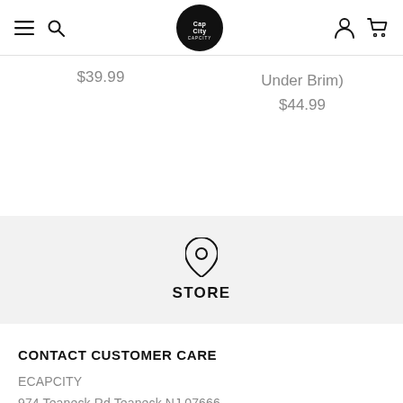Cap City store navigation header with menu, search, logo, account, and cart icons
$39.99
Under Brim)
$44.99
[Figure (other): Location pin icon above the word STORE on a light grey background]
CONTACT CUSTOMER CARE
ECAPCITY
974 Teaneck Rd Teaneck NJ 07666
(201) 453 8485